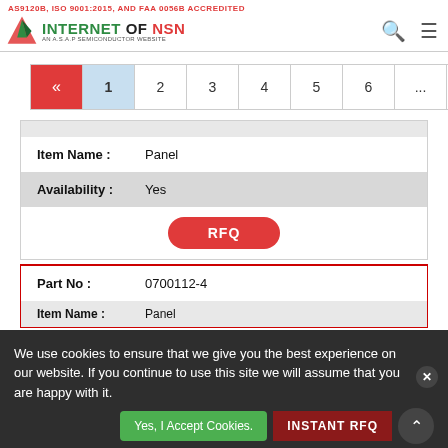AS9120B, ISO 9001:2015, AND FAA 0056B ACCREDITED — INTERNET OF NSN — AN A.S.A.P SEMICONDUCTOR WEBSITE
« 1 2 3 4 5 6 ... 10 »
| Field | Value |
| --- | --- |
| Item Name: | Panel |
| Availability: | Yes |
RFQ
| Field | Value |
| --- | --- |
| Part No: | 0700112-4 |
| Item Name: | Panel |
| Availability: | Yes |
We use cookies to ensure that we give you the best experience on our website. If you continue to use this site we will assume that you are happy with it.
Yes, I Accept Cookies.   INSTANT RFQ